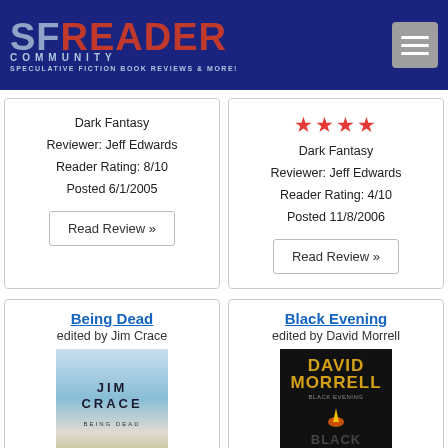SF READER COMMUNITY — Speculative Fiction Book Reviews & More!
Dark Fantasy
Reviewer: Jeff Edwards
Reader Rating: 8/10
Posted 6/1/2005
Read Review »
[Figure (other): Four red stars rating]
Dark Fantasy
Reviewer: Jeff Edwards
Reader Rating: 4/10
Posted 11/8/2006
Read Review »
Being Dead
edited by Jim Crace
[Figure (photo): Book cover: Being Dead by Jim Crace]
Black Evening
edited by David Morrell
[Figure (photo): Book cover: Black Evening by David Morrell]